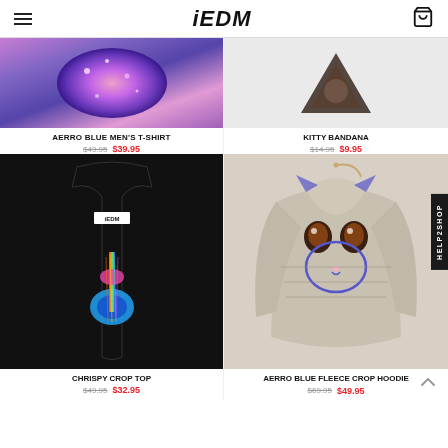iEDM
[Figure (photo): Aerro Blue Men's T-Shirt product image with galaxy print]
AERRO BLUE MEN'S T-SHIRT
$49.95  $39.95
[Figure (photo): Kitty Bandana product image]
KITTY BANDANA
$14.95  $9.95
[Figure (photo): Chrispy Crop Top - black tank top with colorful guitar graphic]
CHRISPY CROP TOP
$49.95  $32.95
[Figure (photo): Aerro Blue Fleece Crop Hoodie with cat face design]
AERRO BLUE FLEECE CROP HOODIE
$69.95  $49.95